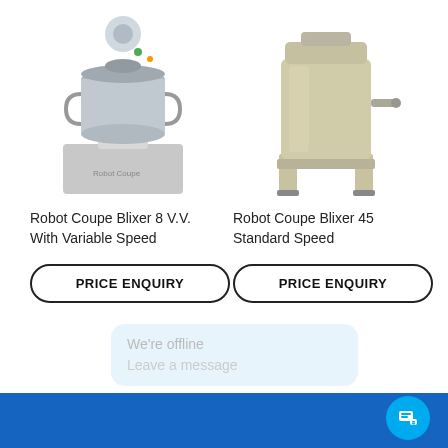[Figure (photo): Robot Coupe Blixer 8 V.V. food processor machine with stainless steel bowl and grey base]
[Figure (photo): Robot Coupe Blixer 45 large stainless steel food processor on legs]
Robot Coupe Blixer 8 V.V. With Variable Speed
Robot Coupe Blixer 45 Standard Speed
PRICE ENQUIRY
PRICE ENQUIRY
We're offline
Leave a message